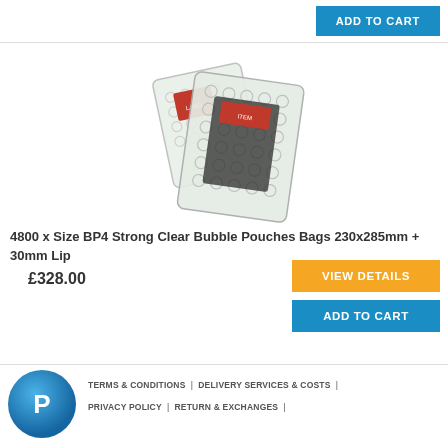ADD TO CART
[Figure (photo): Two bubble wrap pouches/bags displayed overlapping, clear plastic with bubble texture, one smaller with a red label, one larger, both showing bubble wrap material inside.]
4800 x Size BP4 Strong Clear Bubble Pouches Bags 230x285mm + 30mm Lip
£328.00
VIEW DETAILS
ADD TO CART
TERMS & CONDITIONS | DELIVERY SERVICES & COSTS | PRIVACY POLICY | RETURN & EXCHANGES |